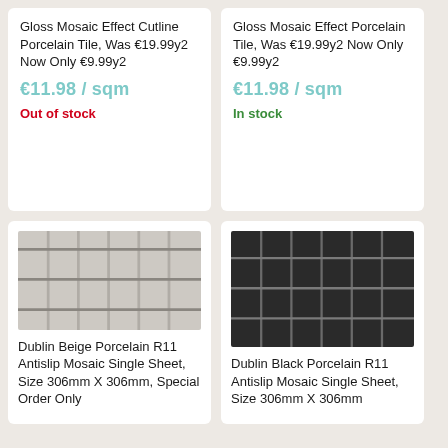Gloss Mosaic Effect Cutline Porcelain Tile, Was €19.99y2 Now Only €9.99y2
€11.98 / sqm
Out of stock
Gloss Mosaic Effect Porcelain Tile, Was €19.99y2 Now Only €9.99y2
€11.98 / sqm
In stock
[Figure (photo): Beige/grey porcelain mosaic tile sheet with grid pattern]
Dublin Beige Porcelain R11 Antislip Mosaic Single Sheet, Size 306mm X 306mm, Special Order Only
[Figure (photo): Dark black porcelain mosaic tile sheet with grid pattern]
Dublin Black Porcelain R11 Antislip Mosaic Single Sheet, Size 306mm X 306mm